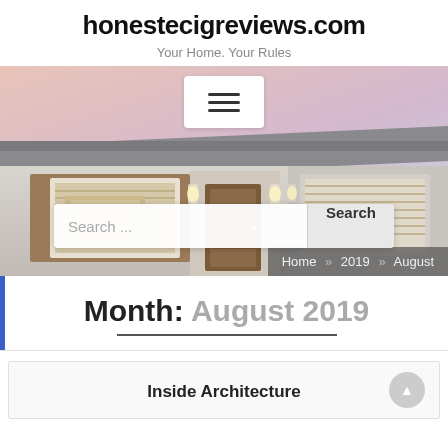honestecigreviews.com
Your Home. Your Rules
[Figure (screenshot): Hero image of a modern house exterior with navigation menu button and search bar overlay. Breadcrumb shows: Home » 2019 » August]
Month: August 2019
Inside Architecture